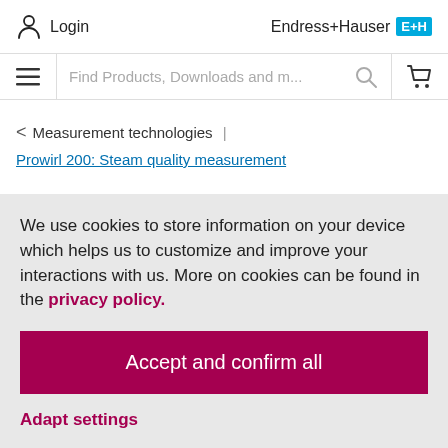Login | Endress+Hauser
[Figure (screenshot): Website navigation bar with hamburger menu, search field 'Find Products, Downloads and m...', search icon, and cart icon]
< Measurement technologies |
Prowirl 200: Steam quality measurement
We use cookies to store information on your device which helps us to customize and improve your interactions with us. More on cookies can be found in the privacy policy.
Accept and confirm all
Adapt settings